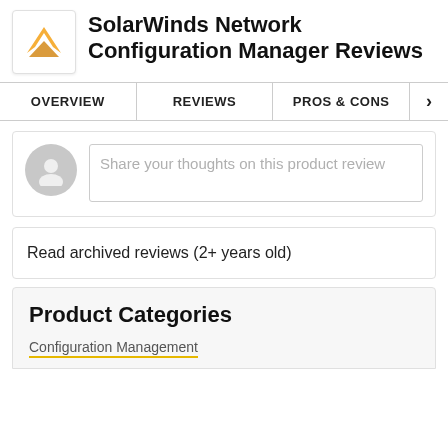SolarWinds Network Configuration Manager Reviews
OVERVIEW | REVIEWS | PROS & CONS
[Figure (other): User avatar placeholder with a text input box saying 'Share your thoughts on this product review']
Read archived reviews (2+ years old)
Product Categories
Configuration Management